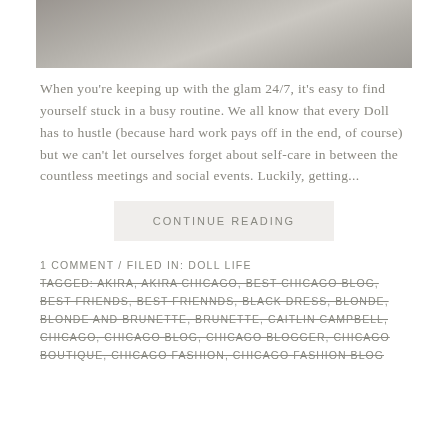[Figure (photo): Top portion of a photo showing a textured gray surface, cropped at top]
When you're keeping up with the glam 24/7, it's easy to find yourself stuck in a busy routine. We all know that every Doll has to hustle (because hard work pays off in the end, of course) but we can't let ourselves forget about self-care in between the countless meetings and social events. Luckily, getting...
CONTINUE READING
1 COMMENT / FILED IN: DOLL LIFE
TAGGED: AKIRA, AKIRA CHICAGO, BEST CHICAGO BLOG, BEST FRIENDS, BEST FRIENNDS, BLACK DRESS, BLONDE, BLONDE AND BRUNETTE, BRUNETTE, CAITLIN CAMPBELL, CHICAGO, CHICAGO BLOG, CHICAGO BLOGGER, CHICAGO BOUTIQUE, CHICAGO FASHION, CHICAGO FASHION BLOG